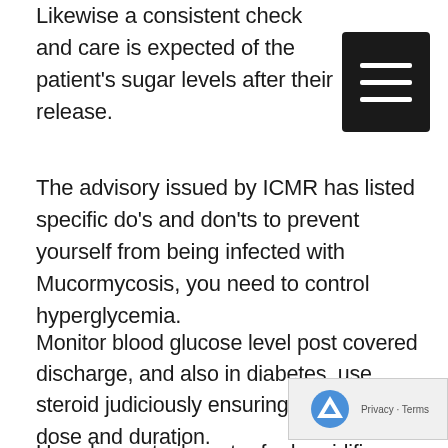Likewise a consistent check and care is expected of the patient's sugar levels after their release.
The advisory issued by ICMR has listed specific do's and don'ts to prevent yourself from being infected with Mucormycosis, you need to control hyperglycemia.
Monitor blood glucose level post covered discharge, and also in diabetes, use steroid judiciously ensuring correct timing dose and duration.
Use clean, sterile water for humidifiers during oxygen therapy, use antibiotics and antifungals judiciously and last but not least, do not miss w...